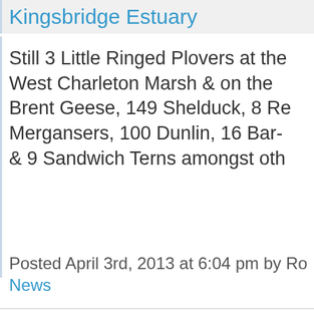Kingsbridge Estuary
Still 3 Little Ringed Plovers at the West Charleton Marsh & on the Brent Geese, 149 Shelduck, 8 Red-breasted Mergansers, 100 Dunlin, 16 Bar-tailed Godwits & 9 Sandwich Terns amongst others.
Posted April 3rd, 2013 at 6:04 pm by Ro
News
Along the Dart
3 x Goosander on the Dart at Staverton weir.....2 x Mandarin, 100 metres